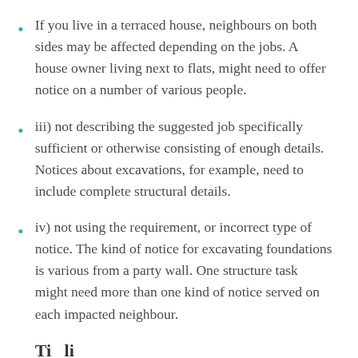If you live in a terraced house, neighbours on both sides may be affected depending on the jobs. A house owner living next to flats, might need to offer notice on a number of various people.
iii) not describing the suggested job specifically sufficient or otherwise consisting of enough details. Notices about excavations, for example, need to include complete structural details.
iv) not using the requirement, or incorrect type of notice. The kind of notice for excavating foundations is various from a party wall. One structure task might need more than one kind of notice served on each impacted neighbour.
Ti  li